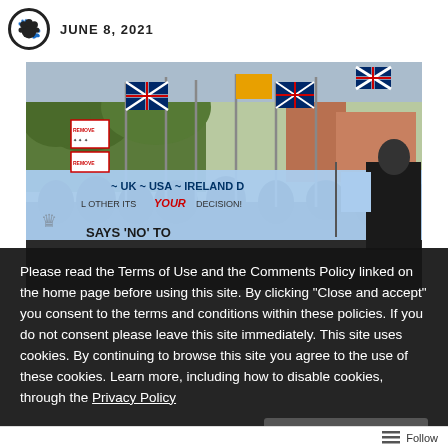JUNE 8, 2021
[Figure (photo): Protest march with people carrying flags including Union Jack flags, banners reading 'UK ~ USA ~ IRELAND D', 'OTHER ITS YOUR DECISION!', and 'SAYS NO TO', some participants wearing masks]
Please read the Terms of Use and the Comments Policy linked on the home page before using this site. By clicking "Close and accept" you consent to the terms and conditions within these policies. If you do not consent please leave this site immediately. This site uses cookies. By continuing to browse this site you agree to the use of these cookies. Learn more, including how to disable cookies, through the Privacy Policy
Follow